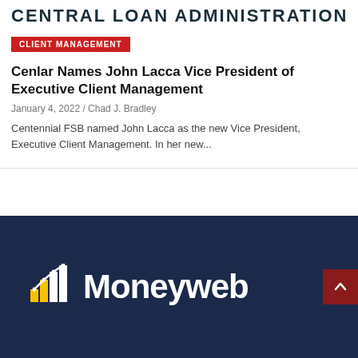CENTRAL LOAN ADMINISTRATION
CLIENT MANAGEMENT
Cenlar Names John Lacca Vice President of Executive Client Management
January 4, 2022 / Chad J. Bradley
Centennial FSB named John Lacca as the new Vice President, Executive Client Management. In her new...
[Figure (logo): Moneyweb logo on dark navy background with bar chart icon in gold and white, with a red scroll-to-top button on the right]